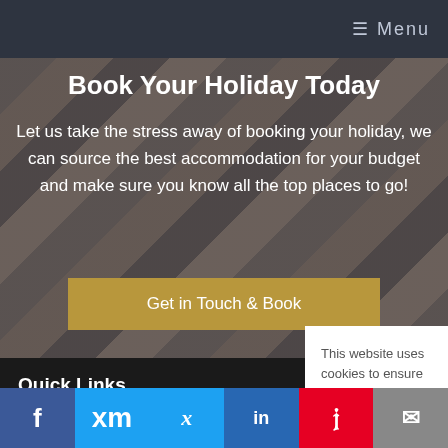≡ Menu
Book Your Holiday Today
Let us take the stress away of booking your holiday, we can source the best accommodation for your budget and make sure you know all the top places to go!
Get in Touch & Book
Quick Links
Latest Offers
This website uses cookies to ensure you get the best experience on our website. Learn More
Got It